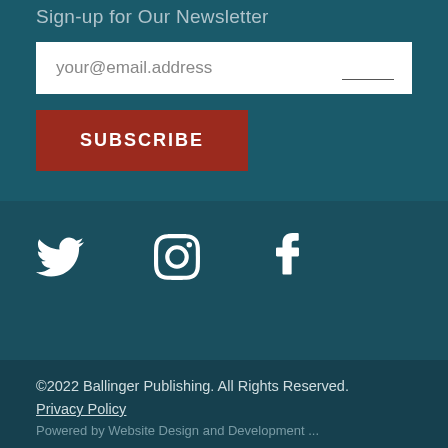Sign-up for Our Newsletter
your@email.address
SUBSCRIBE
[Figure (illustration): Social media icons: Twitter (bird), Instagram (camera), Facebook (f)]
©2022 Ballinger Publishing. All Rights Reserved.
Privacy Policy
Powered by Website Design and Development ...